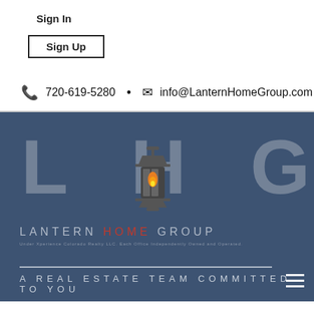Sign In
Sign Up
720-619-5280 • info@LanternHomeGroup.com
[Figure (logo): Lantern Home Group logo on dark blue background with large LHG letters, lantern icon, brand name LANTERN HOME GROUP, and tagline A REAL ESTATE TEAM COMMITTED TO YOU]
A REAL ESTATE TEAM COMMITTED TO YOU